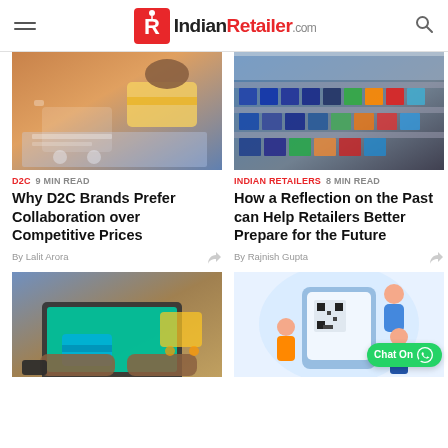IndianRetailer.com
[Figure (photo): Shopping cart with credit card and financial documents on table]
[Figure (photo): Interior of a retail clothing store with colorful garments on racks]
D2C 9 MIN READ
INDIAN RETAILERS 8 MIN READ
Why D2C Brands Prefer Collaboration over Competitive Prices
How a Reflection on the Past can Help Retailers Better Prepare for the Future
By Lalit Arora
By Rajnish Gupta
[Figure (photo): Person typing on laptop with shopping cart in background]
[Figure (illustration): Illustration of people with QR code and phone app, Chat On WhatsApp button visible]